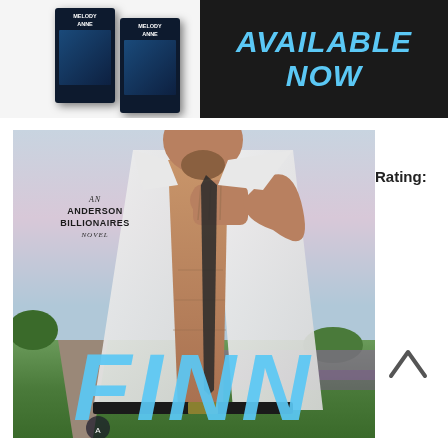[Figure (photo): Top banner showing two book mockups with 'Melody Anne' author branding on the left, and 'AVAILABLE NOW' text in blue on dark background on the right. Likely a social media promotional image for books.]
AVAILABLE NOW
[Figure (photo): Book cover for 'FINN' by Melody Anne, part of the Anderson Billionaires novel series. Shows a shirtless muscular man in an open white shirt, holding his chin, set against a countryside landscape background. The title 'FINN' is displayed in large blue italic letters at the bottom of the cover.]
Rating: